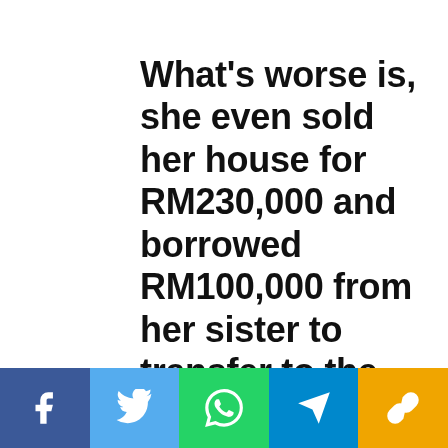What's worse is, she even sold her house for RM230,000 and borrowed RM100,000 from her sister to transfer to the scammer. Now homeless, she stays with her sister.
[Figure (infographic): Social sharing bar with Facebook, Twitter, WhatsApp, Telegram, and link/copy icons]